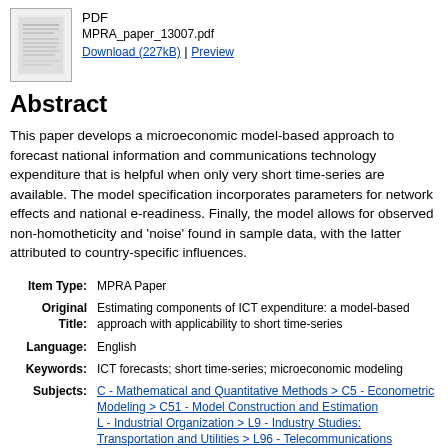[Figure (other): Thumbnail image of a PDF document cover page]
PDF
MPRA_paper_13007.pdf
Download (227kB) | Preview
Abstract
This paper develops a microeconomic model-based approach to forecast national information and communications technology expenditure that is helpful when only very short time-series are available. The model specification incorporates parameters for network effects and national e-readiness. Finally, the model allows for observed non-homotheticity and 'noise' found in sample data, with the latter attributed to country-specific influences.
| Field | Value |
| --- | --- |
| Item Type: | MPRA Paper |
| Original Title: | Estimating components of ICT expenditure: a model-based approach with applicability to short time-series |
| Language: | English |
| Keywords: | ICT forecasts; short time-series; microeconomic modeling |
| Subjects: | C - Mathematical and Quantitative Methods > C5 - Econometric Modeling > C51 - Model Construction and Estimation
L - Industrial Organization > L9 - Industry Studies: Transportation and Utilities > L96 - Telecommunications |